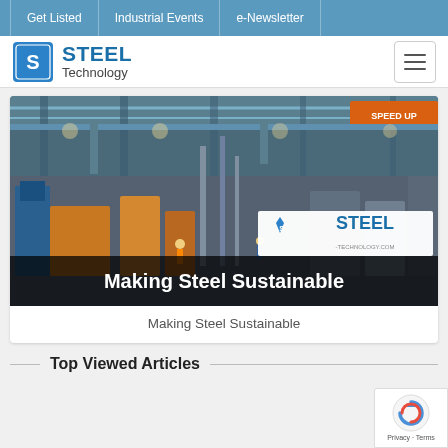Get Listed | Industrial Events | e-Newsletter
[Figure (logo): Steel Technology logo with blue shield icon, bold blue STEEL text, and Technology subtitle]
[Figure (photo): Industrial steel factory interior with machinery, cranes, and equipment. Overlay shows Steel Technology logo and text 'Making Steel Sustainable' on dark background banner at bottom.]
Making Steel Sustainable
Top Viewed Articles